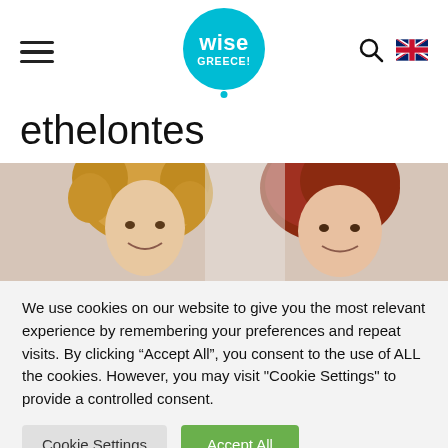[Figure (logo): Wise Greece logo - cyan circle with 'wise GREECE!' text in white, with hamburger menu icon on left, search and UK flag icons on right]
ethelontes
[Figure (photo): Two women with curly/wavy hair, one blonde on the left and one with red hair on the right, smiling against a light background]
We use cookies on our website to give you the most relevant experience by remembering your preferences and repeat visits. By clicking “Accept All”, you consent to the use of ALL the cookies. However, you may visit "Cookie Settings" to provide a controlled consent.